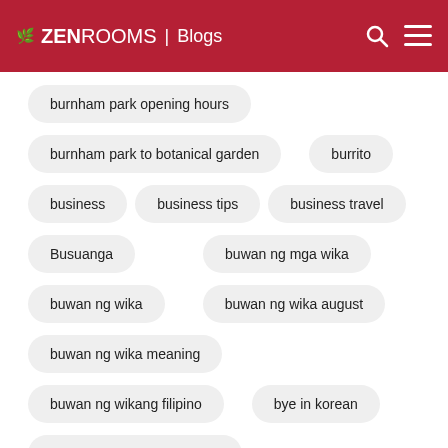ZenRooms | Blogs
burnham park opening hours
burnham park to botanical garden
burrito
business
business tips
business travel
Busuanga
buwan ng mga wika
buwan ng wika
buwan ng wika august
buwan ng wika meaning
buwan ng wikang filipino
bye in korean
cabanatuan city tourist spot